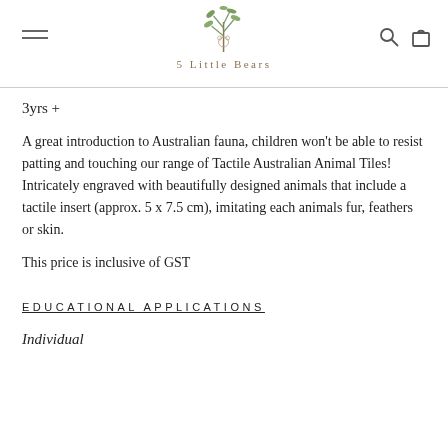5 Little Bears
3yrs +
A great introduction to Australian fauna, children won't be able to resist patting and touching our range of Tactile Australian Animal Tiles! Intricately engraved with beautifully designed animals that include a tactile insert (approx. 5 x 7.5 cm), imitating each animals fur, feathers or skin.
This price is inclusive of GST
EDUCATIONAL APPLICATIONS
Individual